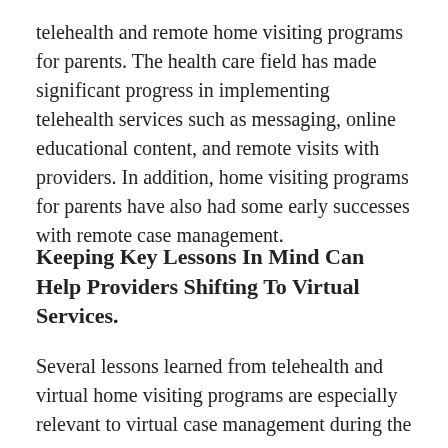telehealth and remote home visiting programs for parents. The health care field has made significant progress in implementing telehealth services such as messaging, online educational content, and remote visits with providers. In addition, home visiting programs for parents have also had some early successes with remote case management.
Keeping Key Lessons In Mind Can Help Providers Shifting To Virtual Services.
Several lessons learned from telehealth and virtual home visiting programs are especially relevant to virtual case management during the